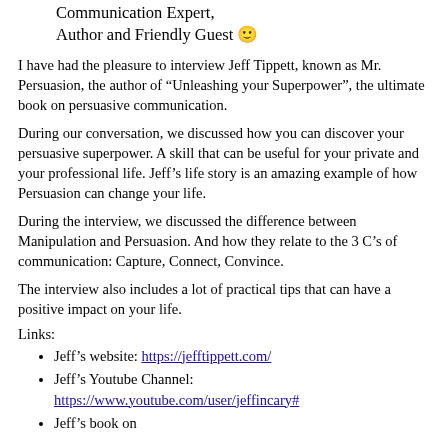Communication Expert,
Author and Friendly Guest 🙂
I have had the pleasure to interview Jeff Tippett, known as Mr. Persuasion, the author of “Unleashing your Superpower”, the ultimate book on persuasive communication.
During our conversation, we discussed how you can discover your persuasive superpower. A skill that can be useful for your private and your professional life. Jeff’s life story is an amazing example of how Persuasion can change your life.
During the interview, we discussed the difference between Manipulation and Persuasion. And how they relate to the 3 C’s of communication: Capture, Connect, Convince.
The interview also includes a lot of practical tips that can have a positive impact on your life.
Links:
Jeff’s website: https://jefftippett.com/
Jeff’s Youtube Channel: https://www.youtube.com/user/jeffincary#
Jeff’s book on